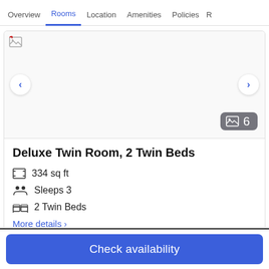Overview  Rooms  Location  Amenities  Policies  R
[Figure (screenshot): Hotel room image carousel placeholder with broken image icon, left/right navigation arrows, and a photo count badge showing 6 photos]
Deluxe Twin Room, 2 Twin Beds
334 sq ft
Sleeps 3
2 Twin Beds
More details >
Check availability